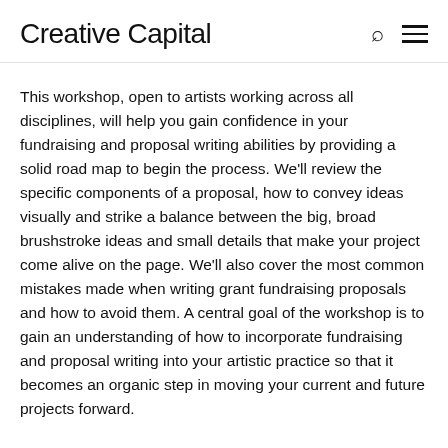Creative Capital
This workshop, open to artists working across all disciplines, will help you gain confidence in your fundraising and proposal writing abilities by providing a solid road map to begin the process. We’ll review the specific components of a proposal, how to convey ideas visually and strike a balance between the big, broad brushstroke ideas and small details that make your project come alive on the page. We’ll also cover the most common mistakes made when writing grant fundraising proposals and how to avoid them. A central goal of the workshop is to gain an understanding of how to incorporate fundraising and proposal writing into your artistic practice so that it becomes an organic step in moving your current and future projects forward.